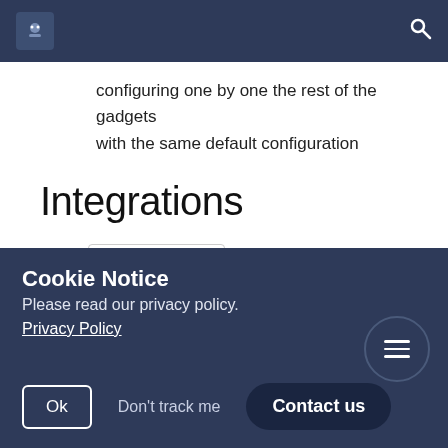Navigation bar with logo and search icon
configuring one by one the rest of the gadgets with the same default configuration
Integrations
Projectrak Deiser [logo]
Projectrak
Cookie Notice
Please read our privacy policy.
Privacy Policy
Ok  Don't track me  Contact us